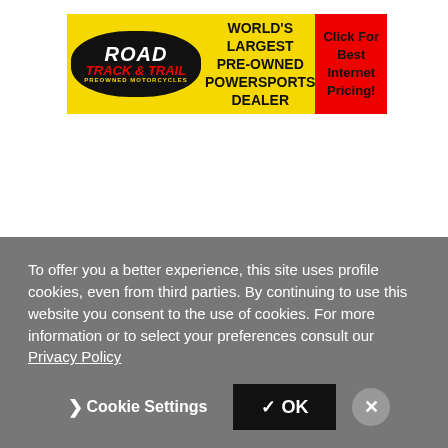[Figure (infographic): Road Track & Trail Preowned Motorcycles banner ad. Yellow background with black oval logo showing 'ROAD TRACK & TRAIL PREOWNED MOTORCYCLES'. Center text: 'WORLD'S LARGEST PRE-OWNED POWERSPORTS DEALER'. Red button on right: 'Click For Best Internet Pricing!']
To offer you a better experience, this site uses profile cookies, even from third parties. By continuing to use this website you consent to the use of cookies. For more information or to select your preferences consult our Privacy Policy
❯ Cookie Settings   ✓ OK   ✕